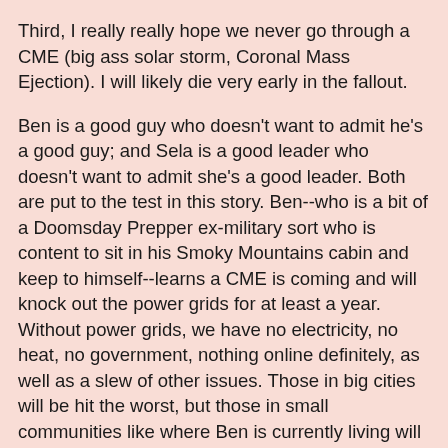Third, I really really hope we never go through a CME (big ass solar storm, Coronal Mass Ejection). I will likely die very early in the fallout.
Ben is a good guy who doesn't want to admit he's a good guy; and Sela is a good leader who doesn't want to admit she's a good leader. Both are put to the test in this story. Ben--who is a bit of a Doomsday Prepper ex-military sort who is content to sit in his Smoky Mountains cabin and keep to himself--learns a CME is coming and will knock out the power grids for at least a year. Without power grids, we have no electricity, no heat, no government, nothing online definitely, as well as a slew of other issues. Those in big cities will be hit the worst, but those in small communities like where Ben is currently living will be in danger of being looted or overtaken by outsiders who are panicked and starving.
Sela is a tad confused when the usually taciturn Ben warns her about the event, giving her an extra day or